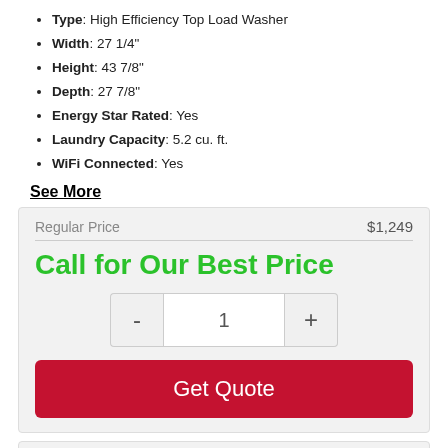Type: High Efficiency Top Load Washer
Width: 27 1/4"
Height: 43 7/8"
Depth: 27 7/8"
Energy Star Rated: Yes
Laundry Capacity: 5.2 cu. ft.
WiFi Connected: Yes
See More
Regular Price  $1,249
Call for Our Best Price
1
Get Quote
Share This Item